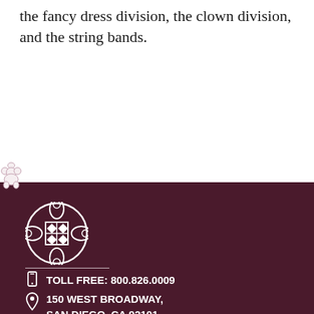the fancy dress division, the clown division, and the string bands.
[Figure (illustration): Decorative lace border pattern in dusty rose/mauve color separating white content area from dark maroon footer]
[Figure (logo): Circular ornate logo with floral/Celtic knot design in white on dark maroon background]
TOLL FREE: 800.826.0009
150 WEST BROADWAY, SAN DIEGO, CA 92101